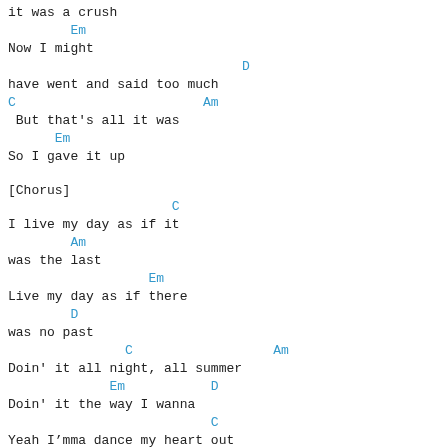it was a crush
Em
Now I might
D
have went and said too much
C                        Am
But that's all it was
Em
So I gave it up
[Chorus]
C
I live my day as if it
Am
was the last
Em
Live my day as if there
D
was no past
C                  Am
Doin' it all night, all summer
Em           D
Doin' it the way I wanna
C
Yeah I’mma dance my heart out
Am
'til the dawn